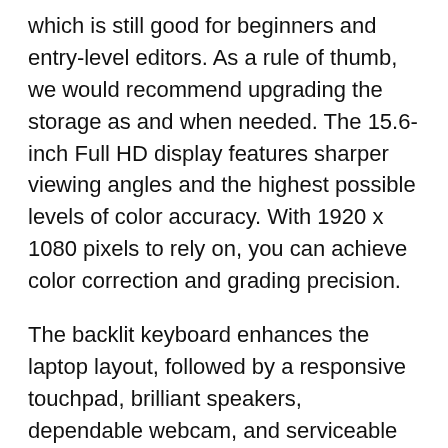which is still good for beginners and entry-level editors. As a rule of thumb, we would recommend upgrading the storage as and when needed. The 15.6-inch Full HD display features sharper viewing angles and the highest possible levels of color accuracy. With 1920 x 1080 pixels to rely on, you can achieve color correction and grading precision.
The backlit keyboard enhances the laptop layout, followed by a responsive touchpad, brilliant speakers, dependable webcam, and serviceable microphones. Acer takes good care of the thermals and ensures enhanced heat dissipation. The port arrangement is quite diverse, with the Nitro 5 making way for USB Type-C, HDMI 2.0, and other functional slots.
However, you need to make certain portability compromises, as this powerful laptop under 900 dollars weighs more than 5